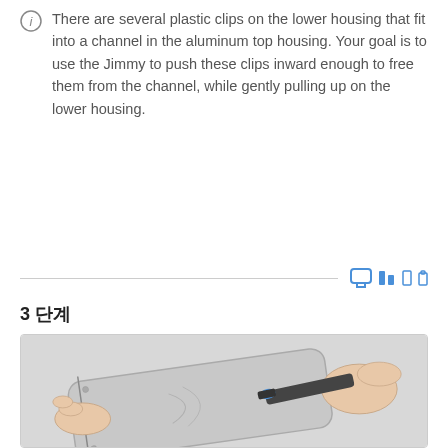There are several plastic clips on the lower housing that fit into a channel in the aluminum top housing. Your goal is to use the Jimmy to push these clips inward enough to free them from the channel, while gently pulling up on the lower housing.
3 단계
[Figure (photo): Hands using a Jimmy tool to pry open the lower housing of an Apple device (MacBook or similar), showing the tool inserted at the edge while fingers pull up on the lower housing.]